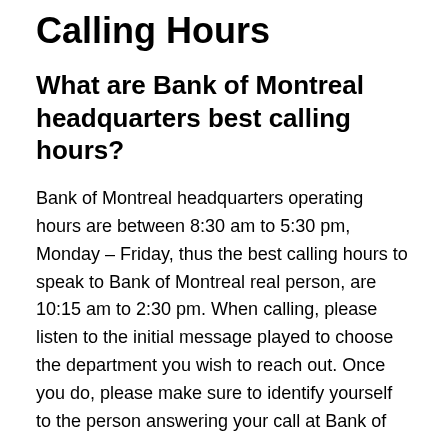Calling Hours
What are Bank of Montreal headquarters best calling hours?
Bank of Montreal headquarters operating hours are between 8:30 am to 5:30 pm, Monday – Friday, thus the best calling hours to speak to Bank of Montreal real person, are 10:15 am to 2:30 pm. When calling, please listen to the initial message played to choose the department you wish to reach out. Once you do, please make sure to identify yourself to the person answering your call at Bank of